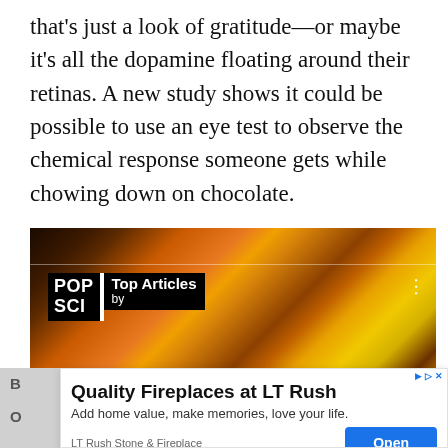that's just a look of gratitude—or maybe it's all the dopamine floating around their retinas. A new study shows it could be possible to use an eye test to observe the chemical response someone gets while chowing down on chocolate.
[Figure (photo): Photo of citrus fruit slices (orange and lemon wedges) on skewers against dark background, with POP SCI Top Articles overlay and media player controls. READ MORE text visible at bottom right.]
[Figure (screenshot): Advertisement overlay: Quality Fireplaces at LT Rush. Add home value, make memories, love your life. LT Rush Stone & Fireplace with Open button.]